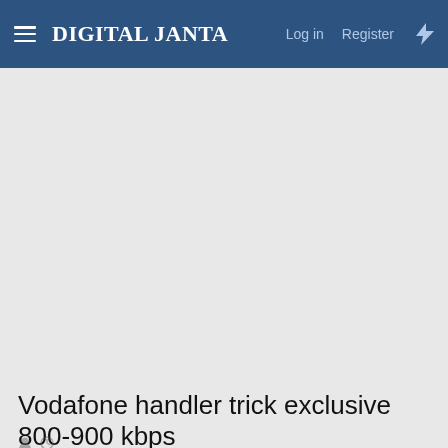DIGITAL JANTA — Log in  Register
[Figure (other): Large blank gray placeholder area below the navigation header]
Vodafone handler trick exclusive 800-900 kbps